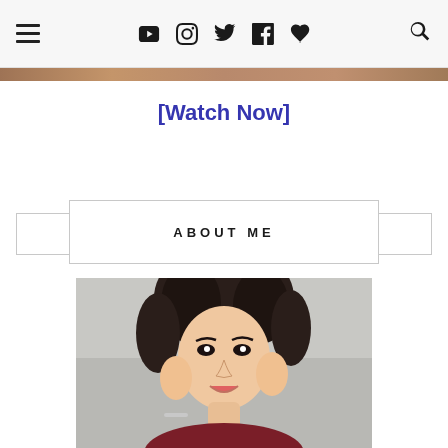Navigation bar with hamburger menu, social icons (YouTube, Instagram, Twitter, Facebook, Heart/Bloglovin), and search icon
[Figure (photo): Horizontal banner strip with brownish gradient color]
[Watch Now]
ABOUT ME
[Figure (photo): Portrait photo of a young Asian woman smiling, wearing a dark red top and silver bracelet, hands raised near her face, blurred light background]